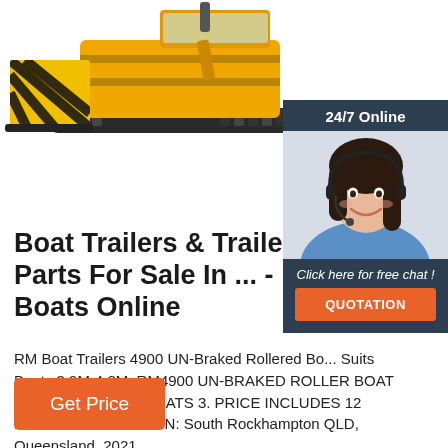[Figure (photo): Yellow bulldozer/excavator machine viewed from front-right angle, with black and yellow hazard stripes on the blade, against white background.]
[Figure (photo): 24/7 Online chat widget showing a smiling woman with a headset, dark blue background header saying '24/7 Online', italic text 'Click here for free chat!', and an orange QUOTATION button.]
Boat Trailers & Trailer Parts For Sale In ... - Boats Online
RM Boat Trailers 4900 UN-Braked Rollered Boat Trailer. Suits Boats 3.9M-4.8M. RM4900 UN-BRAKED ROLLER BOAT TRAILER TO SUIT BOATS 3. PRICE INCLUDES 12 MONTHS ... LOCATION: South Rockhampton QLD, Queensland. 2021.
Get Price